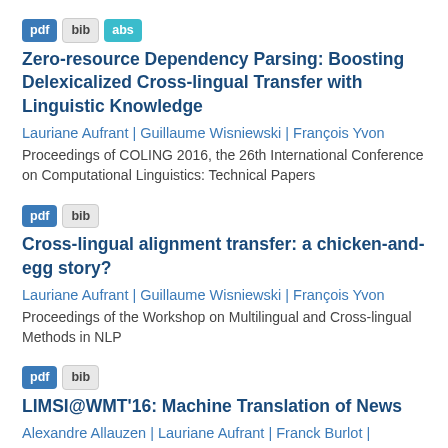pdf | bib | abs — Zero-resource Dependency Parsing: Boosting Delexicalized Cross-lingual Transfer with Linguistic Knowledge — Lauriane Aufrant | Guillaume Wisniewski | François Yvon — Proceedings of COLING 2016, the 26th International Conference on Computational Linguistics: Technical Papers
pdf | bib — Cross-lingual alignment transfer: a chicken-and-egg story? — Lauriane Aufrant | Guillaume Wisniewski | François Yvon — Proceedings of the Workshop on Multilingual and Cross-lingual Methods in NLP
pdf | bib — LIMSI@WMT'16: Machine Translation of News — Alexandre Allauzen | Lauriane Aufrant | Franck Burlot |